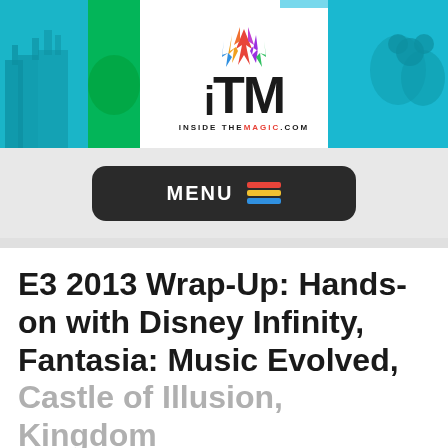[Figure (logo): Inside The Magic (ITM) website header banner with colorful collage of Disney and gaming characters on left and right sides, white center panel with ITM logo featuring colorful flame/spark icon above bold ITM letters and INSIDETHEMAGIC.COM tagline]
[Figure (other): Dark rounded rectangle MENU button with hamburger menu icon in red, yellow, and blue colored horizontal lines]
E3 2013 Wrap-Up: Hands-on with Disney Infinity, Fantasia: Music Evolved, Castle of Illusion, Kingdom